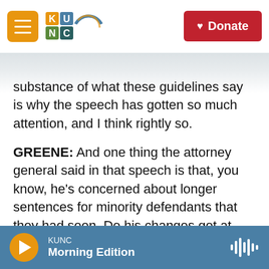KUNC — Donate
substance of what these guidelines say is why the speech has gotten so much attention, and I think rightly so.
GREENE: And one thing the attorney general said in that speech is that, you know, he's concerned about longer sentences for minority defendants that they had seen. Do his changes get at that problem?
BERMAN: Not directly, I think there is good reason to identify the war on drugs and particularly mandatory minimum sentences, as practically ending up having a disproportionate impact on
KUNC Morning Edition